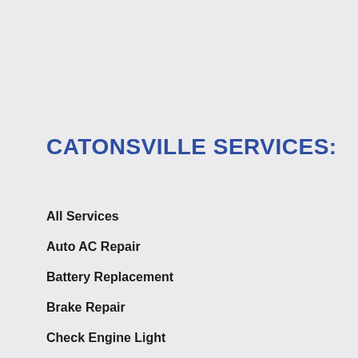CATONSVILLE SERVICES:
All Services
Auto AC Repair
Battery Replacement
Brake Repair
Check Engine Light